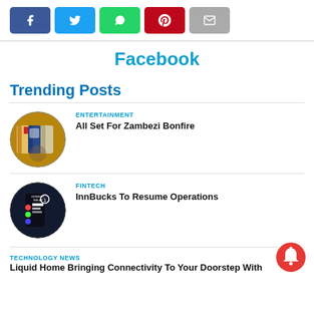[Figure (screenshot): Social sharing buttons: Facebook (blue), Twitter (cyan), WhatsApp (green), Pinterest (red), Email (grey)]
Facebook
Trending Posts
[Figure (photo): Circular photo of beer cans]
ENTERTAINMENT
All Set For Zambezi Bonfire
[Figure (photo): Circular photo of app download screen showing DOWNLOAD THE APP text]
FINTECH
InnBucks To Resume Operations
TECHNOLOGY NEWS
Liquid Home Bringing Connectivity To Your Doorstep With